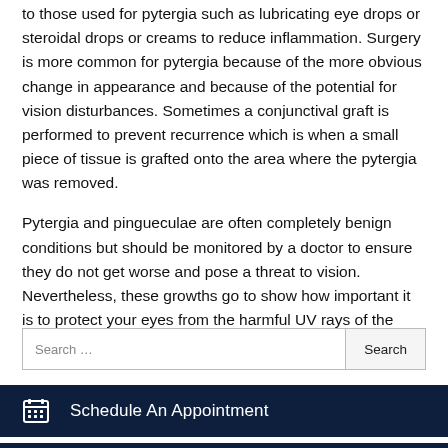to those used for pytergia such as lubricating eye drops or steroidal drops or creams to reduce inflammation. Surgery is more common for pytergia because of the more obvious change in appearance and because of the potential for vision disturbances. Sometimes a conjunctival graft is performed to prevent recurrence which is when a small piece of tissue is grafted onto the area where the pytergia was removed.
Pytergia and pingueculae are often completely benign conditions but should be monitored by a doctor to ensure they do not get worse and pose a threat to vision. Nevertheless, these growths go to show how important it is to protect your eyes from the harmful UV rays of the sun.
Search …
Schedule An Appointment
Patient History Form